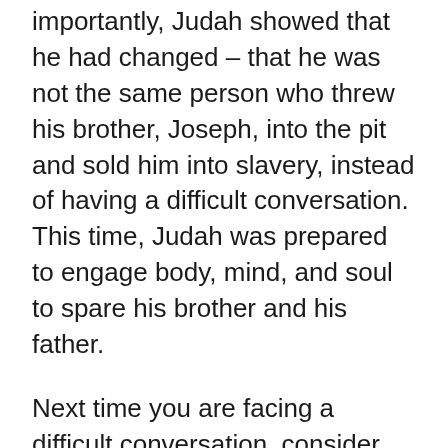importantly, Judah showed that he had changed – that he was not the same person who threw his brother, Joseph, into the pit and sold him into slavery, instead of having a difficult conversation. This time, Judah was prepared to engage body, mind, and soul to spare his brother and his father.
Next time you are facing a difficult conversation, consider the way you vayigash. You may not need to concede your body, mind, and soul – this is a pretty extreme example – but you will likely need to concede something. Throwing the problem into a pit only means it will show up again later, and it might be bigger and more powerful when it